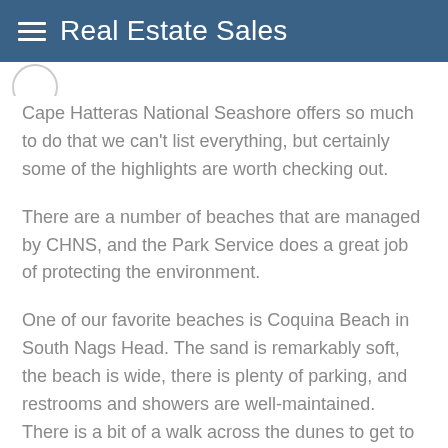Real Estate Sales
Cape Hatteras National Seashore offers so much to do that we can't list everything, but certainly some of the highlights are worth checking out.
There are a number of beaches that are managed by CHNS, and the Park Service does a great job of protecting the environment.
One of our favorite beaches is Coquina Beach in South Nags Head. The sand is remarkably soft, the beach is wide, there is plenty of parking, and restrooms and showers are well-maintained. There is a bit of a walk across the dunes to get to the beach, but the effort is well spent. A fantastic beach.